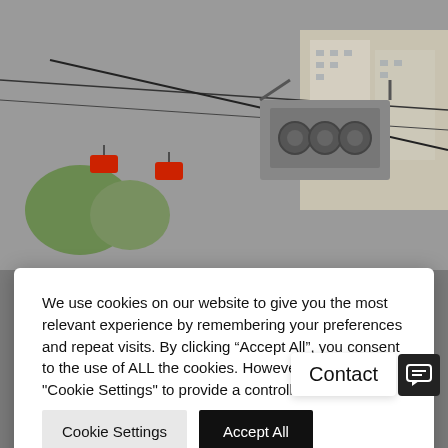[Figure (photo): Aerial cable car system and urban skyline with buildings in the background, grey overcast sky]
We use cookies on our website to give you the most relevant experience by remembering your preferences and repeat visits. By clicking “Accept All”, you consent to the use of ALL the cookies. However, you may visit "Cookie Settings" to provide a controlled consent.
Cookie Settings
Accept All
FEATURES
[Figure (logo): ICON logo on yellow/gold background with grid pattern]
[Figure (logo): ICON logo on red background with diagonal design]
Contact